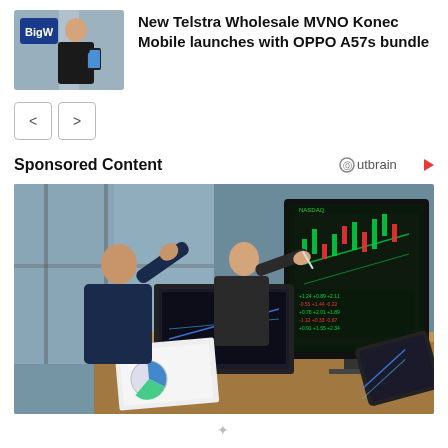[Figure (photo): Thumbnail photo of a man in a store holding a phone, with a BigW logo sign. Used as article thumbnail.]
New Telstra Wholesale MVNO Konec Mobile launches with OPPO A57s bundle
[Figure (other): Navigation left and right arrow buttons]
Sponsored Content
[Figure (logo): Outbrain logo with play button]
[Figure (photo): Photo of two businesspeople at a desk with trading charts on a large monitor, a laptop, tablet, and printed charts.]
⁎